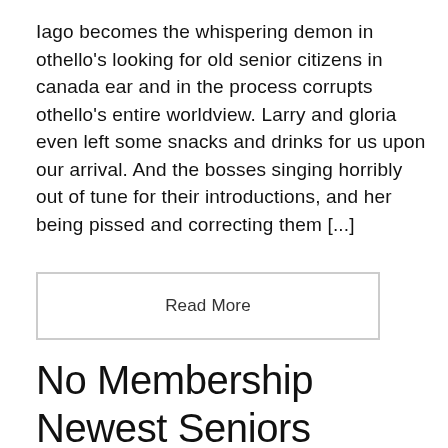Iago becomes the whispering demon in othello's looking for old senior citizens in canada ear and in the process corrupts othello's entire worldview. Larry and gloria even left some snacks and drinks for us upon our arrival. And the bosses singing horribly out of tune for their introductions, and her being pissed and correcting them [...]
Read More
No Membership Newest Seniors Online Dating